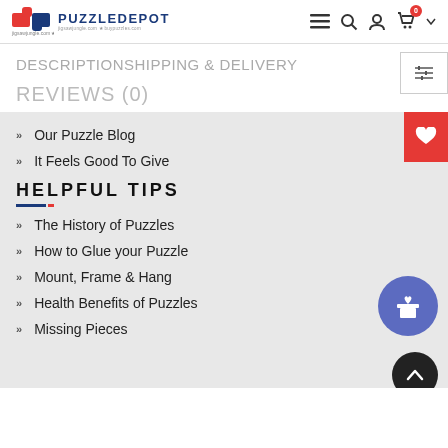PuzzleDepot - jigsawjungle.com + buypuzzles.com
DESCRIPTIONSHIPPING & DELIVERY
REVIEWS (0)
Our Puzzle Blog
It Feels Good To Give
HELPFUL TIPS
The History of Puzzles
How to Glue your Puzzle
Mount, Frame & Hang
Health Benefits of Puzzles
Missing Pieces